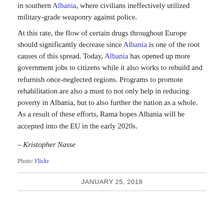in southern Albania, where civilians ineffectively utilized military-grade weaponry against police.
At this rate, the flow of certain drugs throughout Europe should significantly decrease since Albania is one of the root causes of this spread. Today, Albania has opened up more government jobs to citizens while it also works to rebuild and refurnish once-neglected regions. Programs to promote rehabilitation are also a must to not only help in reducing poverty in Albania, but to also further the nation as a whole. As a result of these efforts, Rama hopes Albania will be accepted into the EU in the early 2020s.
– Kristopher Nasse
Photo: Flickr
JANUARY 25, 2018